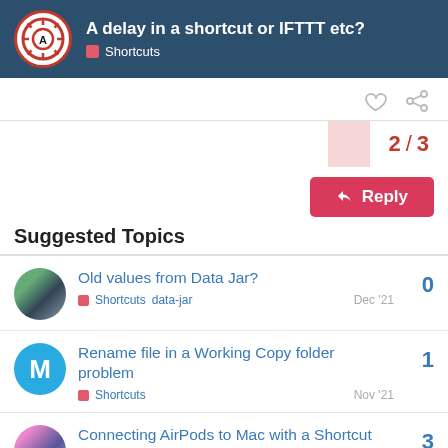A delay in a shortcut or IFTTT etc? — Shortcuts
2 / 3
Reply
Suggested Topics
Old values from Data Jar? | Shortcuts data-jar | 0 | Dec '21
Rename file in a Working Copy folder problem | Shortcuts | 1 | Nov '21
Connecting AirPods to Mac with a Shortcut | Shortcuts question | 3 | Nov '21